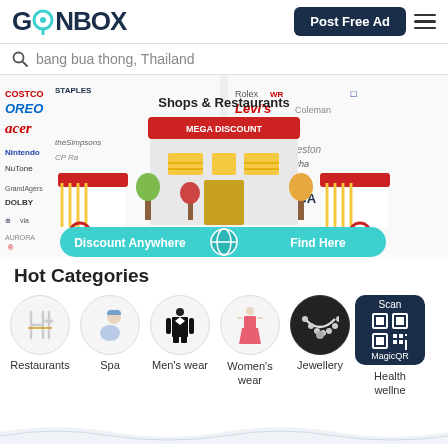[Figure (logo): GONBOX logo with teal location pin replacing the O]
[Figure (screenshot): Post Free Ad button and hamburger menu]
bang bua thong, Thailand
[Figure (illustration): Banner showing Shops & Restaurants with store illustration, street food carts, brand logos collage on sides, and 'Discount Anywhere Find Here' teal banner]
Hot Categories
[Figure (illustration): Category icons row: Restaurants, Spa, Men's wear, Women's wear, Jewellery, Health wellne (with QR scan box)]
Restaurants
Spa
Men's wear
Women's wear
Jewellery
Health wellne